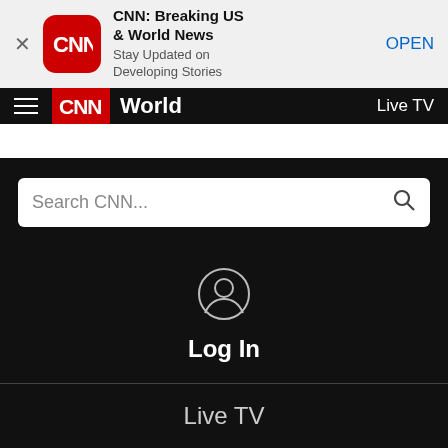[Figure (screenshot): CNN app banner ad with close button, CNN app icon (red rounded square with CNN logo), app title, subtitle, and OPEN button]
CNN World  Live TV
[Figure (screenshot): White spacer area below navigation bar]
[Figure (screenshot): Search CNN... input bar with magnifier icon on black background]
[Figure (screenshot): User/login icon (circle with person silhouette) on black background]
Log In
Live TV